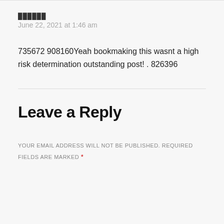██████
June 22, 2021 at 1:46 am
735672 908160Yeah bookmaking this wasnt a high risk determination outstanding post! . 826396
Leave a Reply
YOUR EMAIL ADDRESS WILL NOT BE PUBLISHED. REQUIRED FIELDS ARE MARKED *